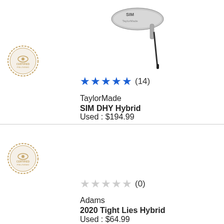[Figure (photo): TaylorMade SIM DHY Hybrid golf club image]
[Figure (logo): Certified Pre-owned badge/seal]
★★★★★ (14)
TaylorMade
SIM DHY Hybrid
Used : $194.99
[Figure (logo): Certified Pre-owned badge/seal]
☆☆☆☆☆ (0)
Adams
2020 Tight Lies Hybrid
Used : $64.99